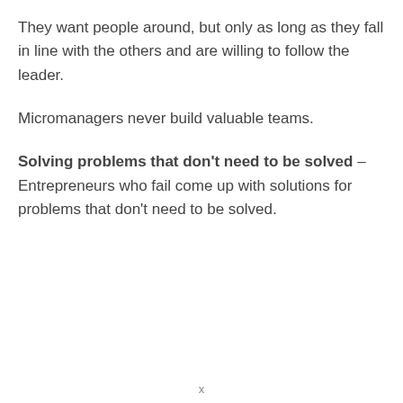They want people around, but only as long as they fall in line with the others and are willing to follow the leader.
Micromanagers never build valuable teams.
Solving problems that don't need to be solved – Entrepreneurs who fail come up with solutions for problems that don't need to be solved.
x